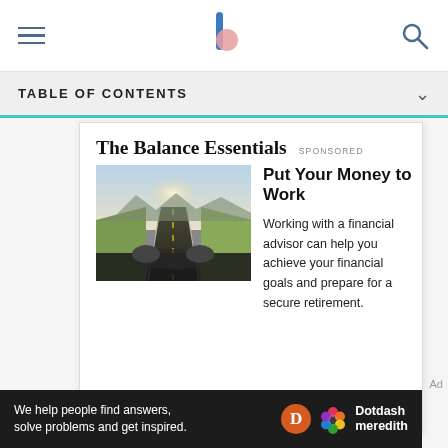The Balance — navigation bar with hamburger menu, logo, and search icon
TABLE OF CONTENTS
The Balance Essentials
SPONSORED
[Figure (photo): View from inside a convertible car driving on a straight open highway through flat countryside with mountains in the distance and bright sunlight ahead.]
Put Your Money to Work
Working with a financial advisor can help you achieve your financial goals and prepare for a secure retirement.
LEARN MORE AT
Ad
We help people find answers, solve problems and get inspired. Dotdash meredith